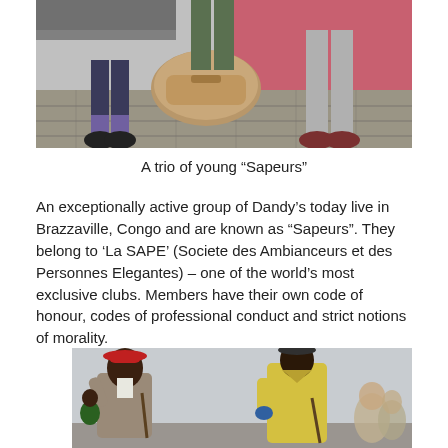[Figure (photo): Top portion of a photo showing feet and lower legs of three young Sapeurs standing on a paved surface with a red wall in the background and a golden/brown luggage bag.]
A trio of young “Sapeurs”
An exceptionally active group of Dandy’s today live in Brazzaville, Congo and are known as “Sapeurs”. They belong to ‘La SAPE’ (Societe des Ambianceurs et des Personnes Elegantes) – one of the world’s most exclusive clubs. Members have their own code of honour, codes of professional conduct and strict notions of morality.
[Figure (photo): Bottom portion of a photo showing two Sapeurs: on the left a man wearing a red bowler hat and gray suit holding a cane with a child nearby, and on the right a man dressed in a bright yellow suit also holding a cane.]